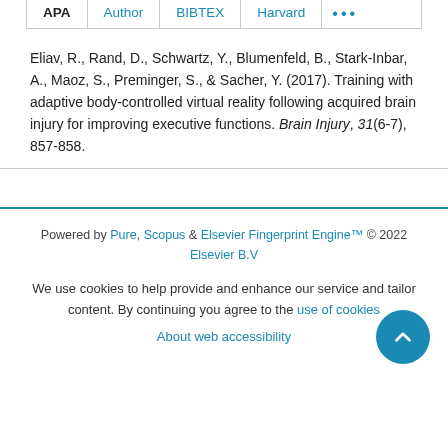APA | Author | BIBTEX | Harvard | ...
Eliav, R., Rand, D., Schwartz, Y., Blumenfeld, B., Stark-Inbar, A., Maoz, S., Preminger, S., & Sacher, Y. (2017). Training with adaptive body-controlled virtual reality following acquired brain injury for improving executive functions. Brain Injury, 31(6-7), 857-858.
Powered by Pure, Scopus & Elsevier Fingerprint Engine™ © 2022 Elsevier B.V
We use cookies to help provide and enhance our service and tailor content. By continuing you agree to the use of cookies
About web accessibility